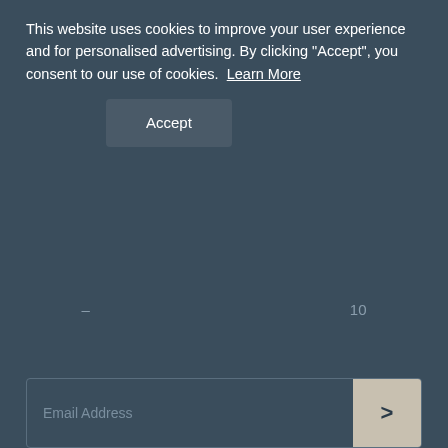This website uses cookies to improve your user experience and for personalised advertising. By clicking "Accept", you consent to our use of cookies. Learn More
Accept
– 10
Email Address